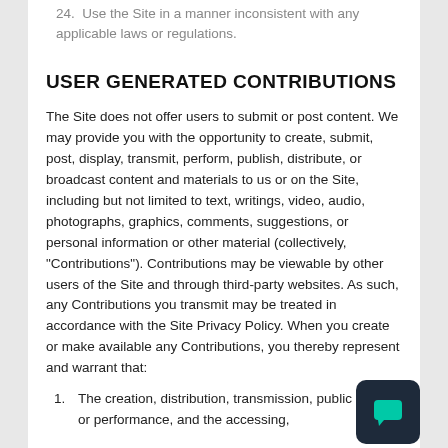24.  Use the Site in a manner inconsistent with any applicable laws or regulations.
USER GENERATED CONTRIBUTIONS
The Site does not offer users to submit or post content. We may provide you with the opportunity to create, submit, post, display, transmit, perform, publish, distribute, or broadcast content and materials to us or on the Site, including but not limited to text, writings, video, audio, photographs, graphics, comments, suggestions, or personal information or other material (collectively, "Contributions"). Contributions may be viewable by other users of the Site and through third-party websites. As such, any Contributions you transmit may be treated in accordance with the Site Privacy Policy. When you create or make available any Contributions, you thereby represent and warrant that:
1.  The creation, distribution, transmission, public display, or performance, and the accessing,